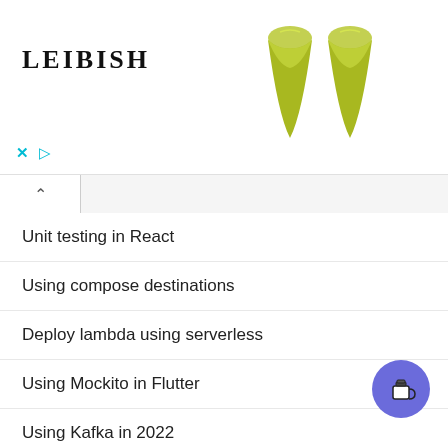[Figure (screenshot): LEIBISH advertisement banner with two yellow-green teardrop gemstones on white background, with close and play icons at bottom left]
Unit testing in React
Using compose destinations
Deploy lambda using serverless
Using Mockito in Flutter
Using Kafka in 2022
Dart on AWS Lambda
Supercharge your Kotlin Project
Deploy React and AWS Amplify